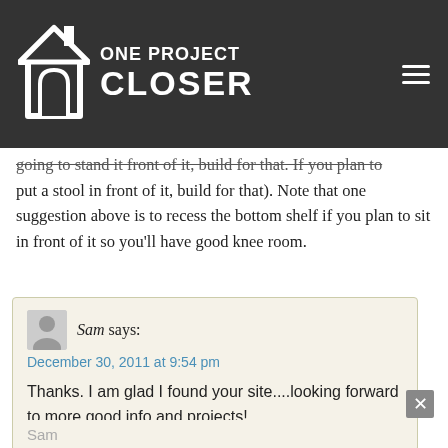One Project Closer
going to stand it front of it, build for that. If you plan to put a stool in front of it, build for that). Note that one suggestion above is to recess the bottom shelf if you plan to sit in front of it so you’ll have good knee room.
Sam says:
December 30, 2011 at 9:54 pm

Thanks. I am glad I found your site....looking forward to more good info and projects!

Hope you and yours have a safe New Year holiday.

Sam